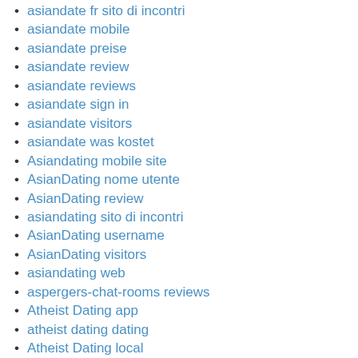asiandate fr sito di incontri
asiandate mobile
asiandate preise
asiandate review
asiandate reviews
asiandate sign in
asiandate visitors
asiandate was kostet
Asiandating mobile site
AsianDating nome utente
AsianDating review
asiandating sito di incontri
AsianDating username
AsianDating visitors
asiandating web
aspergers-chat-rooms reviews
Atheist Dating app
atheist dating dating
Atheist Dating local
Atheist Dating online
Atheist Dating review
atheist dating reviews
Atheist Dating site